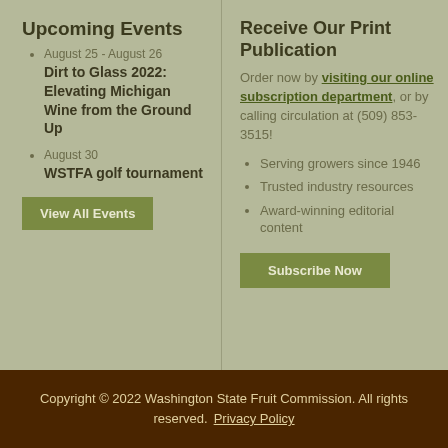Upcoming Events
August 25 - August 26
Dirt to Glass 2022: Elevating Michigan Wine from the Ground Up
August 30
WSTFA golf tournament
View All Events
Receive Our Print Publication
Order now by visiting our online subscription department, or by calling circulation at (509) 853-3515!
Serving growers since 1946
Trusted industry resources
Award-winning editorial content
Subscribe Now
Copyright © 2022 Washington State Fruit Commission. All rights reserved.    Privacy Policy